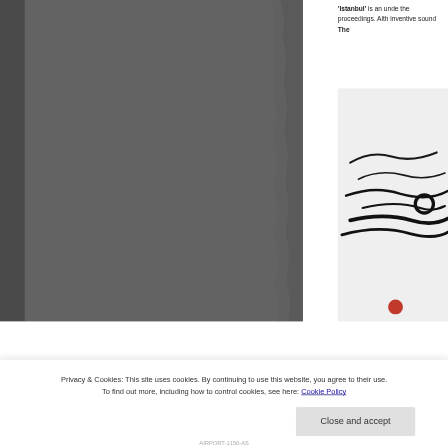[Figure (photo): Dark gray torn or folded paper/book page occupying the left two-thirds of the page]
'Istanbul' is an unde the proceedings. Alth inventive sound The
[Figure (illustration): White background with black ink brush strokes or signature and a small red element at bottom]
Privacy & Cookies: This site uses cookies. By continuing to use this website, you agree to their use.
To find out more, including how to control cookies, see here: Cookie Policy
Close and accept
AIRPORT-1150-AS